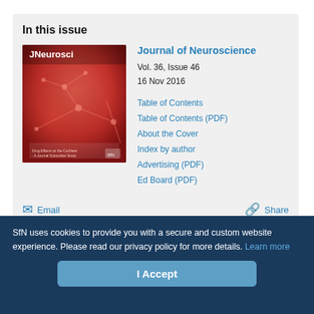In this issue
[Figure (illustration): Journal of Neuroscience magazine cover — red-toned neural tissue background with 'JNeurosci' title text]
Journal of Neuroscience
Vol. 36, Issue 46
16 Nov 2016
Table of Contents
Table of Contents (PDF)
About the Cover
Index by author
Advertising (PDF)
Ed Board (PDF)
Email
Share
SfN uses cookies to provide you with a secure and custom website experience. Please read our privacy policy for more details. Learn more
I Accept